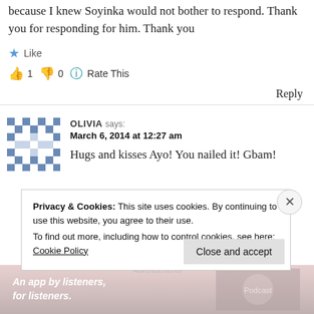because I knew Soyinka would not bother to respond. Thank you for responding for him. Thank you
👍 1 👎 0 🔵 Rate This
Reply
OLIVIA says:
March 6, 2014 at 12:27 am
Hugs and kisses Ayo! You nailed it! Gbam!
Privacy & Cookies: This site uses cookies. By continuing to use this website, you agree to their use. To find out more, including how to control cookies, see here: Cookie Policy